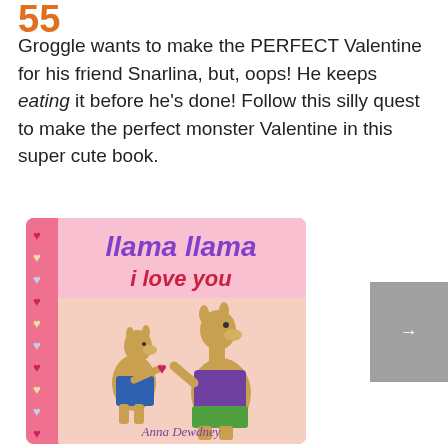55
Groggle wants to make the PERFECT Valentine for his friend Snarlina, but, oops! He keeps eating it before he's done! Follow this silly quest to make the perfect monster Valentine in this super cute book.
[Figure (photo): Book cover of 'Llama Llama I Love You' by Anna Dewdney. Pink cover showing two cartoon llamas, a small one in blue overalls presenting a heart to a larger one in a purple sweater and green pants. Title in purple and red text. Pink decorative border with hearts on left side.]
[Figure (screenshot): Gray UI sidebar element with an upward pointing arrow]